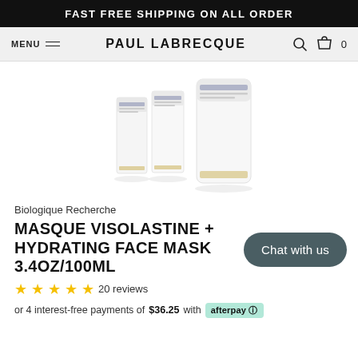FAST FREE SHIPPING ON ALL ORDER
MENU  PAUL LABRECQUE  0
[Figure (photo): Three white cosmetic tubes/boxes of Masque Visolastine product arranged together on a white background. Two smaller boxes on the left, one larger tube on the right.]
Biologique Recherche
MASQUE VISOLASTINE + HYDRATING FACE MASK 3.4OZ/100ML
★★★★★ 20 reviews
or 4 interest-free payments of $36.25 with afterpay